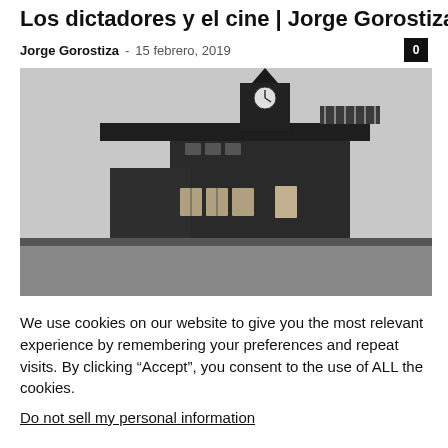Los dictadores y el cine | Jorge Gorostiza
Jorge Gorostiza  -  15 febrero, 2019
[Figure (photo): Black and white photograph of a dark wooden watchtower or guard tower building with a clock, multiple windows, and a railed balcony, taken from a low angle against a pale sky.]
We use cookies on our website to give you the most relevant experience by remembering your preferences and repeat visits. By clicking “Accept”, you consent to the use of ALL the cookies.
Do not sell my personal information.
Configuración de cookies  ACEPTAR